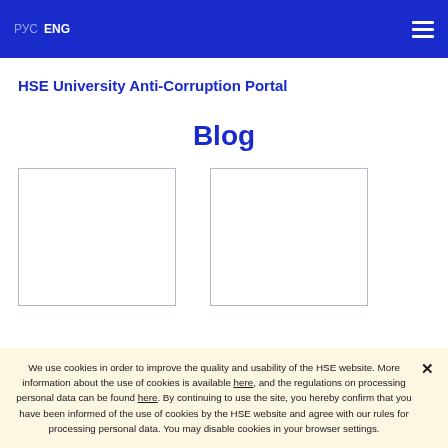РУС ENG [hamburger menu]
HSE University Anti-Corruption Portal
Blog
[Figure (other): Two blog post thumbnail card placeholders shown side by side, white rectangles with thin blue-grey borders]
We use cookies in order to improve the quality and usability of the HSE website. More information about the use of cookies is available here, and the regulations on processing personal data can be found here. By continuing to use the site, you hereby confirm that you have been informed of the use of cookies by the HSE website and agree with our rules for processing personal data. You may disable cookies in your browser settings.